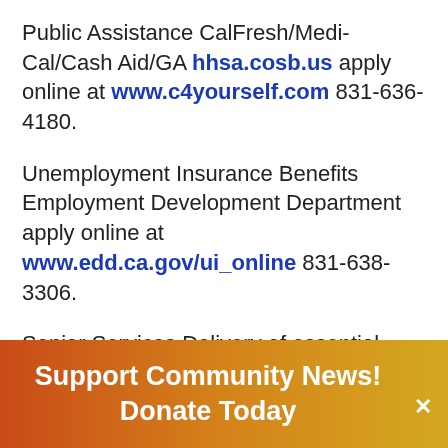Public Assistance CalFresh/Medi-Cal/Cash Aid/GA hhsa.cosb.us apply online at www.c4yourself.com 831-636-4180.
Unemployment Insurance Benefits Employment Development Department apply online at www.edd.ca.gov/ui_online 831-638-3306.
Senior Services Delivery of essential items and food City of Hollister and Jovenes de Antano recreation@hollister.ca.gov 831-636-4390.
[Figure (other): Orange-to-yellow gradient banner button with white bold text reading 'Support Community News! Donate Today' and a white X close button on the right.]